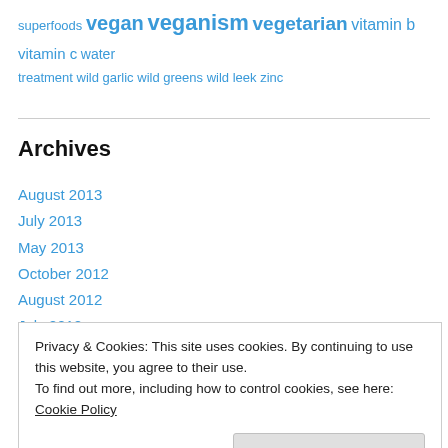superfoods vegan veganism vegetarian vitamin b vitamin c water treatment wild garlic wild greens wild leek zinc
Archives
August 2013
July 2013
May 2013
October 2012
August 2012
July 2012
March 2012
January 2012
Privacy & Cookies: This site uses cookies. By continuing to use this website, you agree to their use. To find out more, including how to control cookies, see here: Cookie Policy
Close and accept